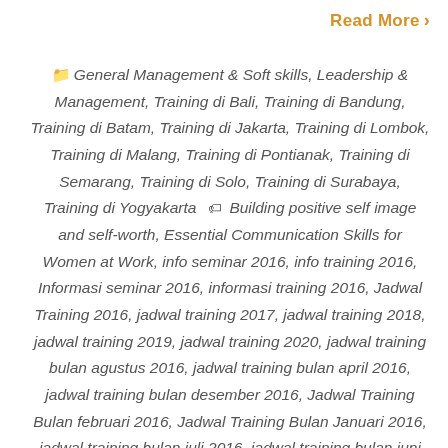Read More >
General Management & Soft skills, Leadership & Management, Training di Bali, Training di Bandung, Training di Batam, Training di Jakarta, Training di Lombok, Training di Malang, Training di Pontianak, Training di Semarang, Training di Solo, Training di Surabaya, Training di Yogyakarta  Building positive self image and self-worth, Essential Communication Skills for Women at Work, info seminar 2016, info training 2016, Informasi seminar 2016, informasi training 2016, Jadwal Training 2016, jadwal training 2017, jadwal training 2018, jadwal training 2019, jadwal training 2020, jadwal training bulan agustus 2016, jadwal training bulan april 2016, jadwal training bulan desember 2016, Jadwal Training Bulan februari 2016, Jadwal Training Bulan Januari 2016, jadwal training bulan juli 2016, jadwal training bulan juni 2016, jadwal training bulan maret